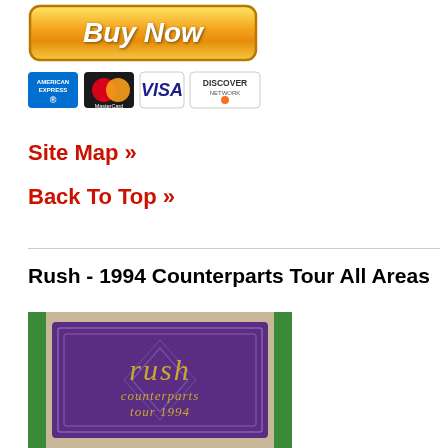[Figure (other): PayPal Buy Now button with golden gradient styling and italic bold text]
[Figure (other): Payment method logos: American Express, MasterCard, Visa, Discover]
Site Map »
Back To Top »
Rush - 1994 Counterparts Tour All Areas
[Figure (photo): Rush Counterparts Tour 1994 backstage pass credential on tan/beige background with green border and purple badge showing 'rush counterparts tour 1994' in gold lettering]